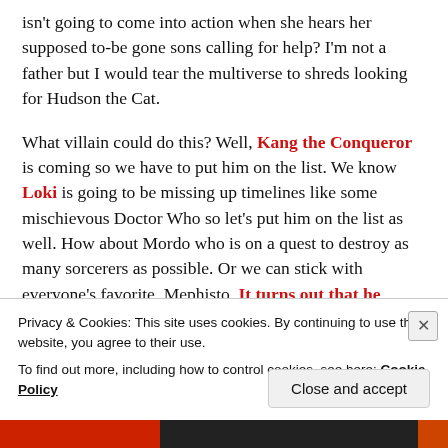isn't going to come into action when she hears her supposed to-be gone sons calling for help? I'm not a father but I would tear the multiverse to shreds looking for Hudson the Cat.

What villain could do this? Well, Kang the Conqueror is coming so we have to put him on the list. We know Loki is going to be missing up timelines like some mischievous Doctor Who so let's put him on the list as well. How about Mordo who is on a quest to destroy as many sorcerers as possible. Or we can stick with everyone's favorite, Mephisto. It turns out that he
Privacy & Cookies: This site uses cookies. By continuing to use this website, you agree to their use.
To find out more, including how to control cookies, see here: Cookie Policy
Close and accept